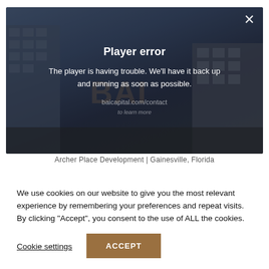[Figure (screenshot): Video player showing a player error message overlay. Background shows a multi-story apartment building under a blue sky. A white X close button is in the top right. The error overlay reads 'Player error' and 'The player is having trouble. We'll have it back up and running as soon as possible.' with a contact link 'baicapital.com/contact' and 'to learn more' text below.]
Archer Place Development | Gainesville, Florida
We use cookies on our website to give you the most relevant experience by remembering your preferences and repeat visits. By clicking “Accept”, you consent to the use of ALL the cookies.
Cookie settings
ACCEPT